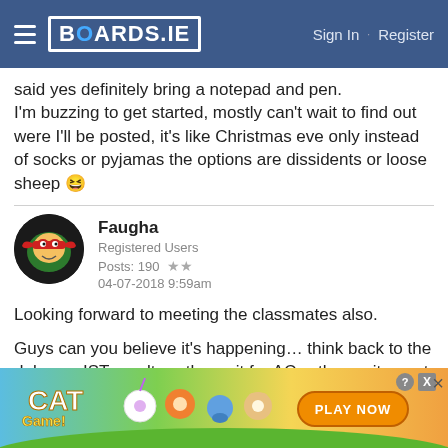BOARDS.IE  Sign In · Register
said yes definitely bring a notepad and pen. I'm buzzing to get started, mostly can't wait to find out were I'll be posted, it's like Christmas eve only instead of socks or pyjamas the options are dissidents or loose sheep 😆
Faugha
Registered Users
Posts: 190 ★★
04-07-2018 9:59am
Looking forward to meeting the classmates also.
Guys can you believe it's happening… think back to the delay on IST results… the wait for AC… the excitement
[Figure (screenshot): Advertisement banner for Cat Game with cartoon animals and a PLAY NOW button]